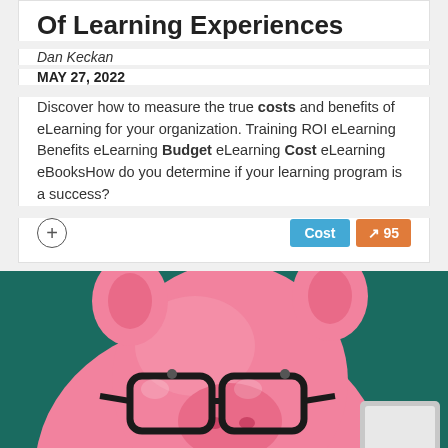Of Learning Experiences
Dan Keckan
MAY 27, 2022
Discover how to measure the true costs and benefits of eLearning for your organization. Training ROI eLearning Benefits eLearning Budget eLearning Cost eLearning eBooksHow do you determine if your learning program is a success?
[Figure (photo): Pink piggy bank wearing black glasses in front of a dark teal/green background, with what appears to be a calculator or tablet partially visible on the right side.]